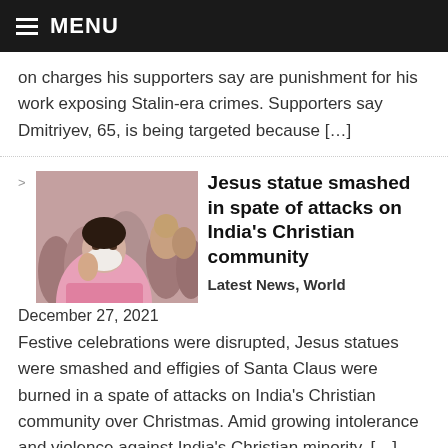MENU
on charges his supporters say are punishment for his work exposing Stalin-era crimes. Supporters say Dmitriyev, 65, is being targeted because […]
[Figure (photo): Woman in a pink garment wearing a face mask, surrounded by people in a crowd.]
Jesus statue smashed in spate of attacks on India's Christian community
Latest News, World
December 27, 2021
Festive celebrations were disrupted, Jesus statues were smashed and effigies of Santa Claus were burned in a spate of attacks on India's Christian community over Christmas. Amid growing intolerance and violence against India's Christian minority, […]